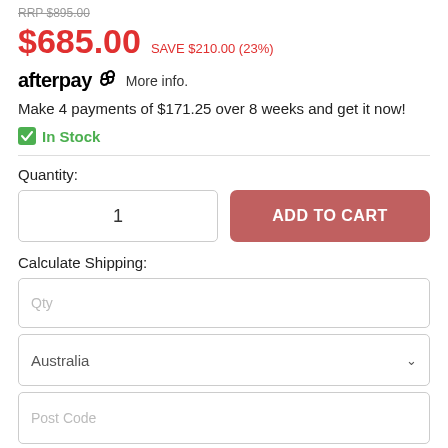RRP $895.00
$685.00  SAVE $210.00 (23%)
afterpay  More info.
Make 4 payments of $171.25 over 8 weeks and get it now!
✓ In Stock
Quantity:
1  ADD TO CART
Calculate Shipping:
Qty
Australia
Post Code